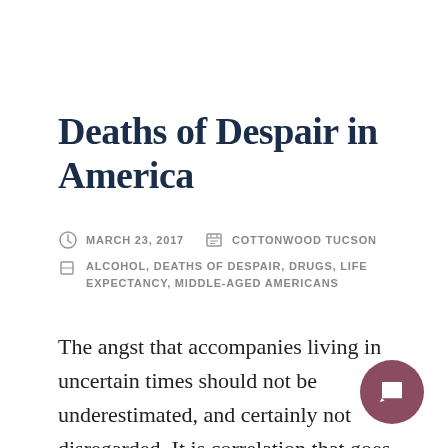Deaths of Despair in America
MARCH 23, 2017   COTTONWOOD TUCSON
ALCOHOL, DEATHS OF DESPAIR, DRUGS, LIFE EXPECTANCY, MIDDLE-AGED AMERICANS
The angst that accompanies living in uncertain times should not be underestimated, and certainly not disregarded. It is correlation that goes far beyond the lines of politics (that is not to say that politics don't have a role). Over the last two decades the economic landscape of America has changed dramatically, with it economic...